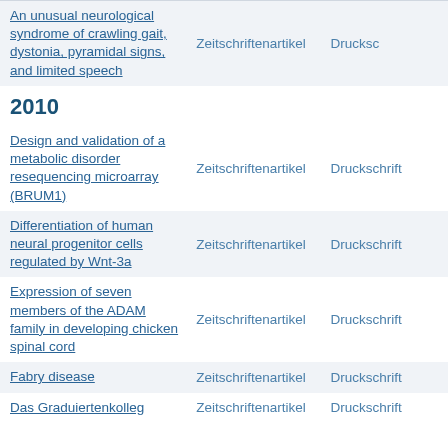| Title | Type | Format |
| --- | --- | --- |
| An unusual neurological syndrome of crawling gait, dystonia, pyramidal signs, and limited speech | Zeitschriftenartikel | Druckschrift |
| Design and validation of a metabolic disorder resequencing microarray (BRUM1) | Zeitschriftenartikel | Druckschrift |
| Differentiation of human neural progenitor cells regulated by Wnt-3a | Zeitschriftenartikel | Druckschrift |
| Expression of seven members of the ADAM family in developing chicken spinal cord | Zeitschriftenartikel | Druckschrift |
| Fabry disease | Zeitschriftenartikel | Druckschrift |
| Das Graduiertenkolleg | Zeitschriftenartikel | Druckschrift |